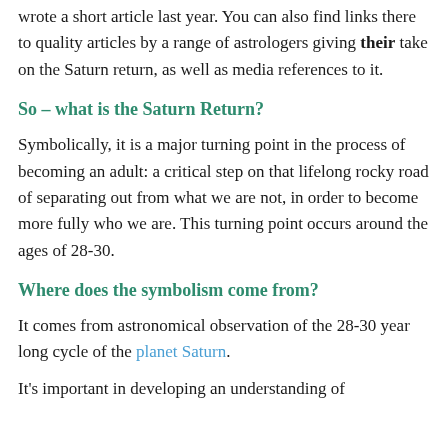wrote a short article last year. You can also find links there to quality articles by a range of astrologers giving their take on the Saturn return, as well as media references to it.
So – what is the Saturn Return?
Symbolically, it is a major turning point in the process of becoming an adult: a critical step on that lifelong rocky road of separating out from what we are not, in order to become more fully who we are. This turning point occurs around the ages of 28-30.
Where does the symbolism come from?
It comes from astronomical observation of the 28-30 year long cycle of the planet Saturn.
It's important in developing an understanding of